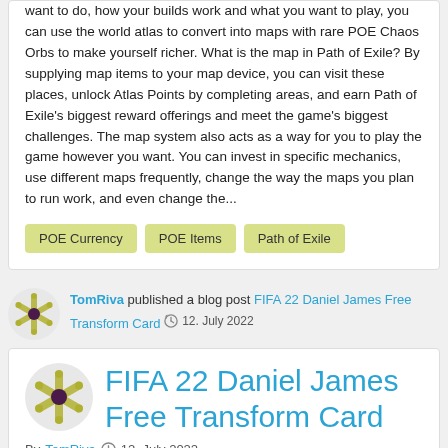want to do, how your builds work and what you want to play, you can use the world atlas to convert into maps with rare POE Chaos Orbs to make yourself richer. What is the map in Path of Exile? By supplying map items to your map device, you can visit these places, unlock Atlas Points by completing areas, and earn Path of Exile's biggest reward offerings and meet the game's biggest challenges. The map system also acts as a way for you to play the game however you want. You can invest in specific mechanics, use different maps frequently, change the way the maps you plan to run work, and even change the...
POE Currency
POE Items
Path of Exile
TomRiva published a blog post FIFA 22 Daniel James Free Transform Card  12. July 2022
FIFA 22 Daniel James Free Transform Card
By TomRiva  12. July 2022
The Shapeshifters sale brings a slew of fantastic new players to the game. Player position changes are the theme of the event, which may throw some wacky new cards and more cards will go to Team 1...